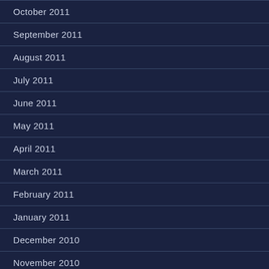October 2011
September 2011
August 2011
July 2011
June 2011
May 2011
April 2011
March 2011
February 2011
January 2011
December 2010
November 2010
October 2010
September 2010
August 2010